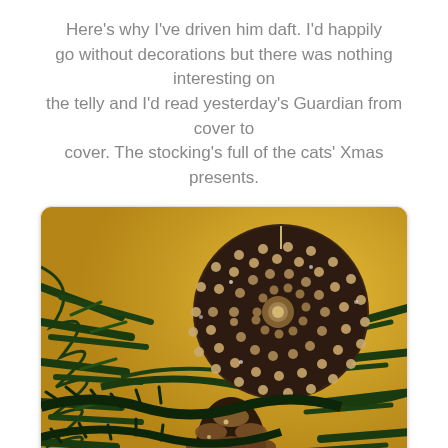Here's why I've driven him daft. I'd happily go without decorations but there was nothing interesting on the telly and I'd read yesterday's Guardian from cover to cover. The stocking's full of the cats' Xmas presents.
[Figure (photo): Close-up photograph of Christmas tree ornaments — a large glittery pinecone-style ball ornament in the upper portion and a smaller glittery pinecone ornament below, surrounded by dark green pine tree branches, warm yellow/golden ambient lighting.]